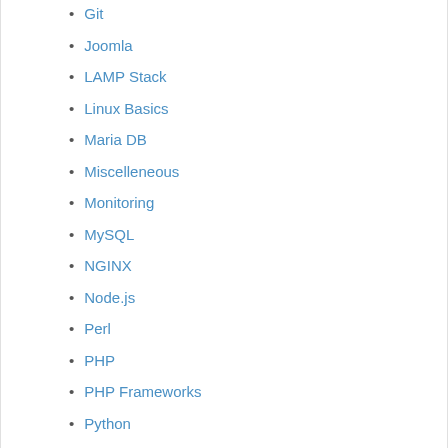Git
Joomla
LAMP Stack
Linux Basics
Maria DB
Miscelleneous
Monitoring
MySQL
NGINX
Node.js
Perl
PHP
PHP Frameworks
Python
Ruby
Ruby on Rails
Security
Server Optimization
Ubuntu
Uncategorized
VPN
Wordpress